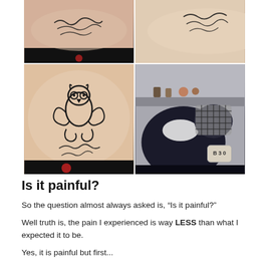[Figure (photo): Four-photo grid showing tattoo artwork and the tattoo application process. Top-left: close-up of a script tattoo on pale skin. Top-right: a script tattoo on a forearm. Bottom-left: an owl tattoo design with decorative flourishes and script text on an arm. Bottom-right: a person lying down receiving a tattoo from an artist wearing a checkered head covering, in a shop setting.]
Is it painful?
So the question almost always asked is, “Is it painful?”
Well truth is, the pain I experienced is way LESS than what I expected it to be.
Yes, it is painful but first...